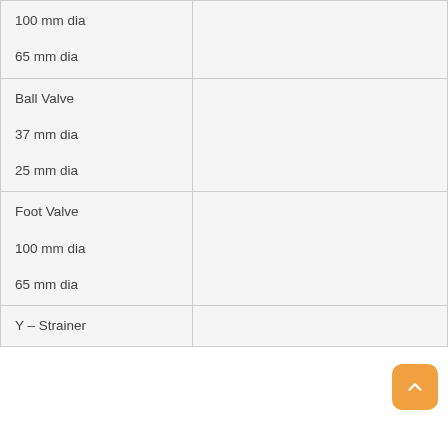| 100 mm dia
65 mm dia |  |
| Ball Valve

37 mm dia
25 mm dia |  |
| Foot Valve

100 mm dia
65 mm dia |  |
| Y – Strainer |  |